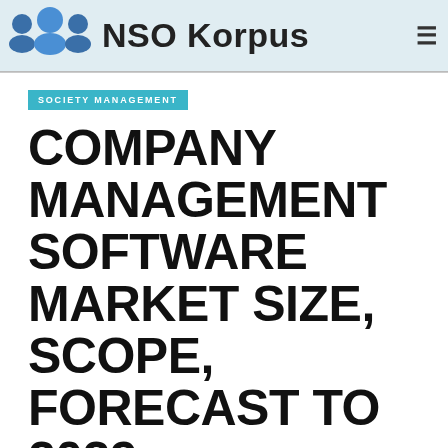NSO Korpus
SOCIETY MANAGEMENT
COMPANY MANAGEMENT SOFTWARE MARKET SIZE, SCOPE, FORECAST TO 2029
MARIE T. ALLEN   JANUARY 6, 2022